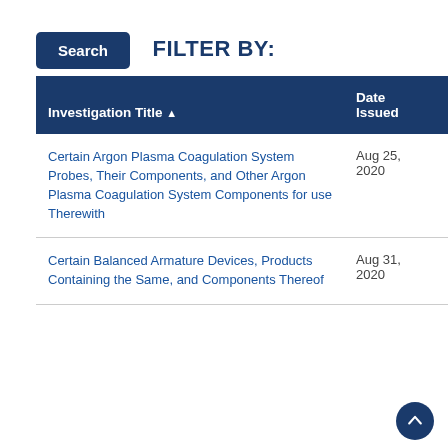Search
FILTER BY:
| Investigation Title ▲ | Date Issued |
| --- | --- |
| Certain Argon Plasma Coagulation System Probes, Their Components, and Other Argon Plasma Coagulation System Components for use Therewith | Aug 25, 2020 |
| Certain Balanced Armature Devices, Products Containing the Same, and Components Thereof | Aug 31, 2020 |